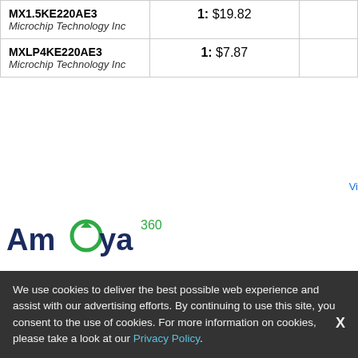| Part Number | Price | Availa… |
| --- | --- | --- |
| MX1.5KE220AE3
Microchip Technology Inc | 1:  $19.82 |  |
| MXLP4KE220AE3
Microchip Technology Inc | 1:  $7.87 |  |
[Figure (logo): Ameya 360 company logo with stylized green circular arrow in the letter 'e']
| Part Number | Price | Availa… |
| --- | --- | --- |
| P6KE220A-E3/54 P6KE220A-E3/54
Vishay Semiconductors |  |  |
| EEEFP1E220AR
Panasonic Electronic Components |  | RFQ
1000- |
We use cookies to deliver the best possible web experience and assist with our advertising efforts. By continuing to use this site, you consent to the use of cookies. For more information on cookies, please take a look at our Privacy Policy.